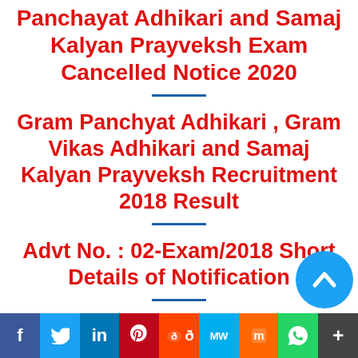Panchayat Adhikari and Samaj Kalyan Prayveksh Exam Cancelled Notice 2020
Gram Panchyat Adhikari , Gram Vikas Adhikari and Samaj Kalyan Prayveksh Recruitment 2018 Result
Advt No. : 02-Exam/2018 Short Details of Notification
f  in  p  reddit  MW  m  WhatsApp  +